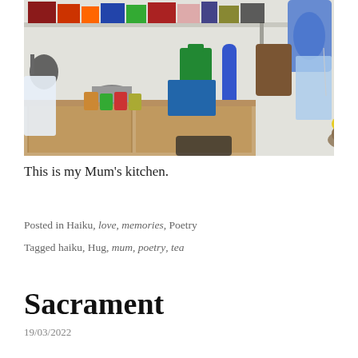[Figure (photo): A kitchen interior showing shelves with various items, bags hanging on a white tiled wall, a counter with pots and food items, and a bowl of bananas.]
This is my Mum's kitchen.
Posted in Haiku, love, memories, Poetry
Tagged haiku, Hug, mum, poetry, tea
Sacrament
19/03/2022